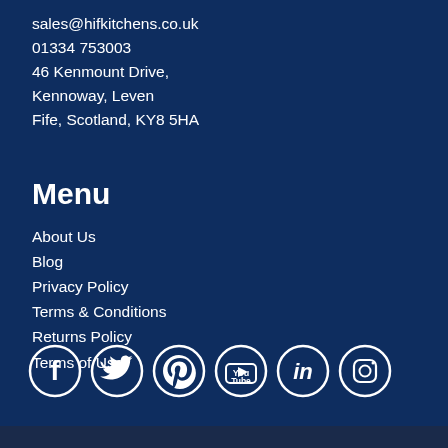sales@hifkitchens.co.uk
01334 753003
46 Kenmount Drive,
Kennoway, Leven
Fife, Scotland, KY8 5HA
Menu
About Us
Blog
Privacy Policy
Terms & Conditions
Returns Policy
Terms of Use
[Figure (infographic): Row of 6 social media icons in white circles on dark blue background: Facebook, Twitter, Pinterest, YouTube, LinkedIn, Instagram]